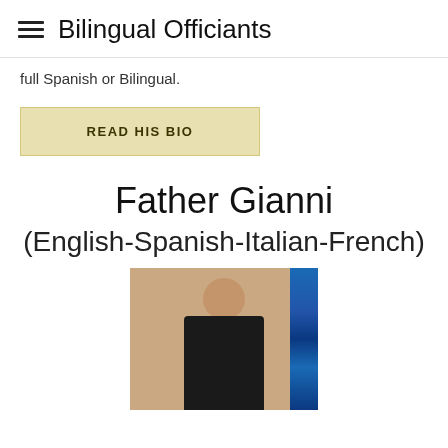Bilingual Officiants
full Spanish or Bilingual.
READ HIS BIO
Father Gianni
(English-Spanish-Italian-French)
[Figure (photo): Portrait photo of Father Gianni, a man in a black clerical collar shirt, smiling, with a stained glass window visible behind him on the right.]